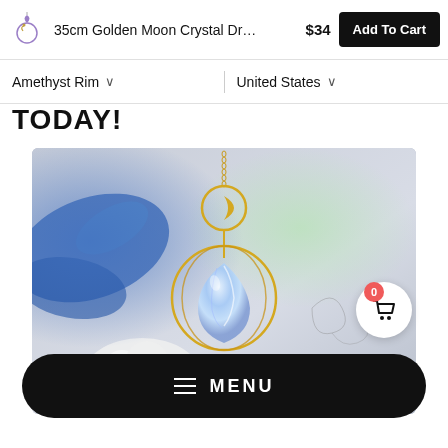35cm Golden Moon Crystal Dr… $34 Add To Cart
Amethyst Rim ∨  United States ∨
TODAY!
[Figure (photo): A golden moon crystal dropper pendant hanging from a chain, featuring a gold crescent moon and circular rings with a iridescent crystal teardrop, photographed against a soft blurred background with blue ribbon, white flowers, and light bokeh.]
≡  MENU